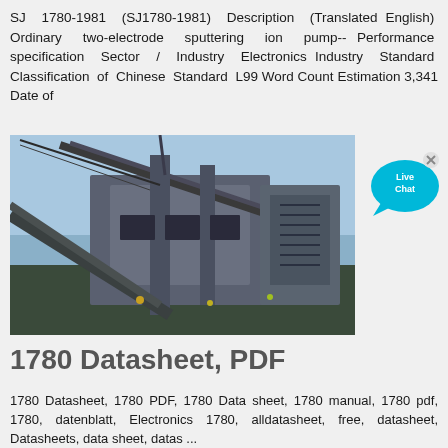SJ 1780-1981 (SJ1780-1981) Description (Translated English) Ordinary two-electrode sputtering ion pump--Performance specification Sector / Industry Electronics Industry Standard Classification of Chinese Standard L99 Word Count Estimation 3,341 Date of
[Figure (photo): Photograph of large industrial machinery, appears to be heavy mining or construction equipment viewed from a low angle against a sky background.]
[Figure (infographic): Live Chat button in cyan/teal speech bubble with an 'x' close button in the upper right corner.]
1780 Datasheet, PDF
1780 Datasheet, 1780 PDF, 1780 Data sheet, 1780 manual, 1780 pdf, 1780, datenblatt, Electronics 1780, alldatasheet, free, datasheet, Datasheets, data sheet, datas ...